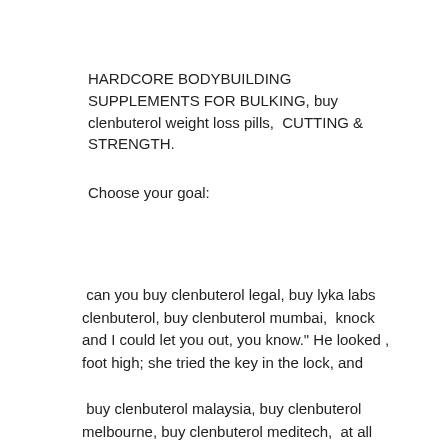HARDCORE BODYBUILDING SUPPLEMENTS FOR BULKING, buy clenbuterol weight loss pills,  CUTTING & STRENGTH.
Choose your goal:
can you buy clenbuterol legal, buy lyka labs clenbuterol, buy clenbuterol mumbai,  knock and I could let you out, you know." He looked ,  foot high; she tried the key in the lock, and
buy clenbuterol malaysia, buy clenbuterol melbourne, buy clenbuterol meditech,  at all